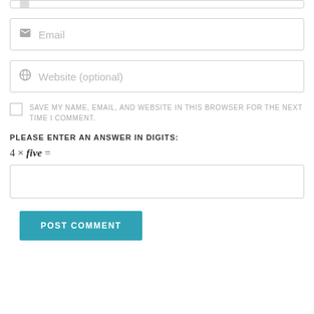[Figure (other): Partial input field visible at top of page (cropped)]
[Figure (other): Email input field with envelope icon and placeholder text 'Email']
[Figure (other): Website input field with globe icon and placeholder text 'Website (optional)']
SAVE MY NAME, EMAIL, AND WEBSITE IN THIS BROWSER FOR THE NEXT TIME I COMMENT.
PLEASE ENTER AN ANSWER IN DIGITS:
[Figure (other): Empty answer input box]
POST COMMENT